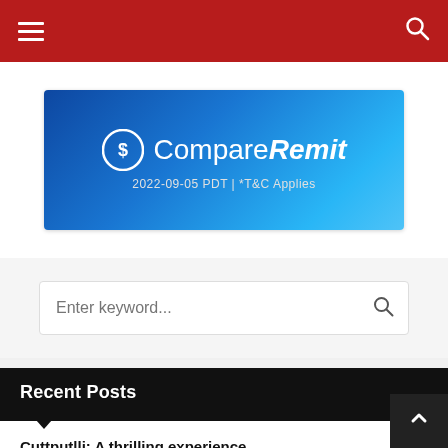navigation header with hamburger menu and search icon
[Figure (logo): CompareRemit banner advertisement with blue gradient background, logo icon, brand name 'CompareRemit', and date '2022-09-05 PDT | *T&C Applies']
Enter keyword...
Recent Posts
Cuttputlli: A thrilling experience
Consulate hosts 76th Indian Independence Day celebration
Cumming Fairgrounds comes alive for IFA Freedom Mela 2022